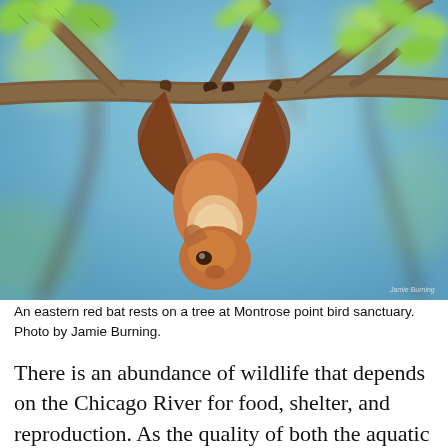[Figure (photo): Close-up photograph of an eastern red bat hanging upside down from a tree branch among green leaves, with a blue sky background. The bat has reddish-brown fur and a pale underside. Photo credit: Jamie Burning.]
An eastern red bat rests on a tree at Montrose point bird sanctuary. Photo by Jamie Burning.
There is an abundance of wildlife that depends on the Chicago River for food, shelter, and reproduction. As the quality of both the aquatic and riparian habitat improves, we can expect to see even more animals. When you walk along the river, keep your